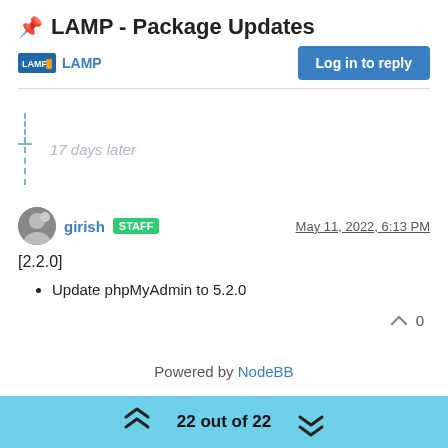📌 LAMP - Package Updates
LAMP
Log in to reply
17 days later
girish STAFF  May 11, 2022, 6:13 PM
[2.2.0]
Update phpMyAdmin to 5.2.0
0
Powered by NodeBB
22 out of 22